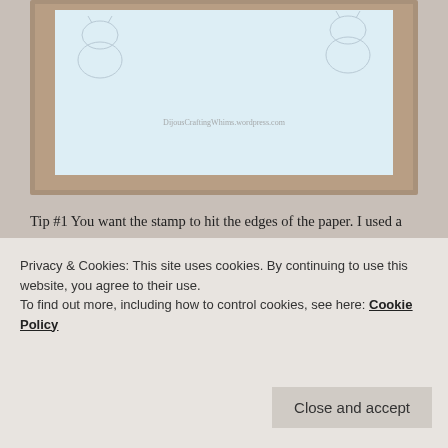[Figure (photo): Photograph of a craft project showing a burlap-textured brown mat with a light blue paper featuring faint cat stamp outlines, with a watermark reading DijousCraftingWhims.wordpress.com]
Tip #1 You want the stamp to hit the edges of the paper. I used a MISTI and put the paper in the corner to stamp it, which means there was a tiny space between the edge of the stamp and the edge of the paper, so it didn't cut out completely. (also: Don't ink up the corners in the stamps below the cats… they're just there to help you place the cats properly… place the corner of the stamp on the corresponding corner of your card.
Privacy & Cookies: This site uses cookies. By continuing to use this website, you agree to their use.
To find out more, including how to control cookies, see here: Cookie Policy
Close and accept